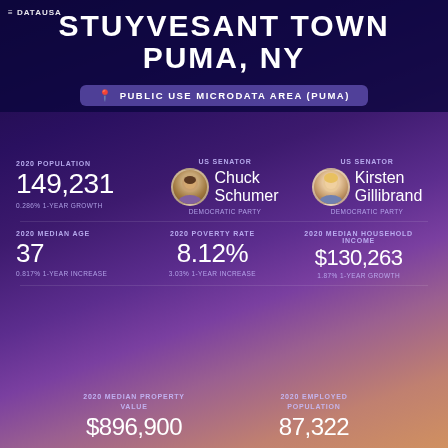DATAUSA
STUYVESANT TOWN
PUMA, NY
PUBLIC USE MICRODATA AREA (PUMA)
2020 POPULATION: 149,231 | 0.286% 1-YEAR GROWTH
US SENATOR: Chuck Schumer, DEMOCRATIC PARTY
US SENATOR: Kirsten Gillibrand, DEMOCRATIC PARTY
2020 MEDIAN AGE: 37 | 0.817% 1-YEAR INCREASE
2020 POVERTY RATE: 8.12% | 3.03% 1-YEAR INCREASE
2020 MEDIAN HOUSEHOLD INCOME: $130,263 | 1.87% 1-YEAR GROWTH
2020 MEDIAN PROPERTY VALUE: $896,900
2020 EMPLOYED POPULATION: 87,322